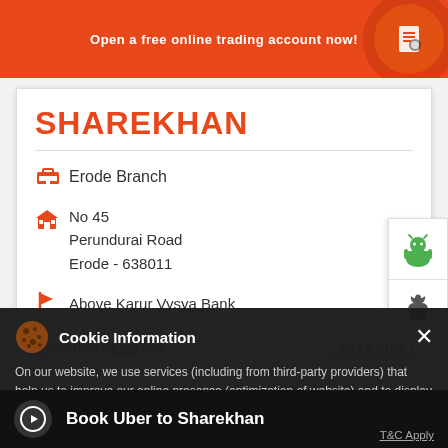Open a free online trading account now!
SHAREKHAN
Erode Branch
No 45
Perundurai Road
Erode - 638011
Above Karur Vysya Bank
Open until 06:30 PM   OPEN NOW
Cookie Information
On our website, we use services (including from third-party providers) that help us to improve our online presence (optimization of website) and to display content that is geared to their interests. We need your consent before being able to use these services.
LOOKING FOR A BETTER DEMAT
Book Uber to Sharekhan
T&C Apply